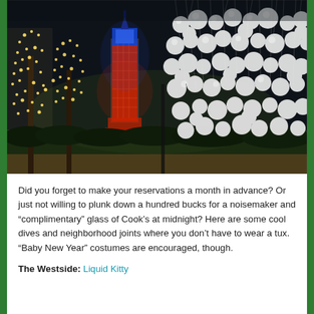[Figure (photo): Night scene showing a park with a tall clock tower (Big Ben-style building) illuminated in red and blue lights on the left, trees decorated with warm string lights, and hundreds of white balloon or globe lanterns hanging from strings on the right foreground. The ground is greenery and bushes with a sandy/dirt path at bottom.]
Did you forget to make your reservations a month in advance? Or just not willing to plunk down a hundred bucks for a noisemaker and “complimentary” glass of Cook’s at midnight? Here are some cool dives and neighborhood joints where you don’t have to wear a tux. “Baby New Year” costumes are encouraged, though.
The Westside: Liquid Kitty